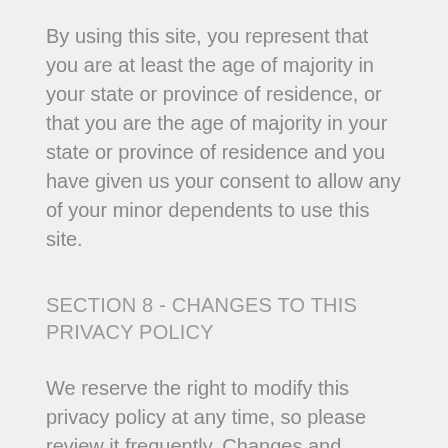By using this site, you represent that you are at least the age of majority in your state or province of residence, or that you are the age of majority in your state or province of residence and you have given us your consent to allow any of your minor dependents to use this site.
SECTION 8 - CHANGES TO THIS PRIVACY POLICY
We reserve the right to modify this privacy policy at any time, so please review it frequently. Changes and clarifications will take effect immediately upon their posting on the website. If we make material changes to this